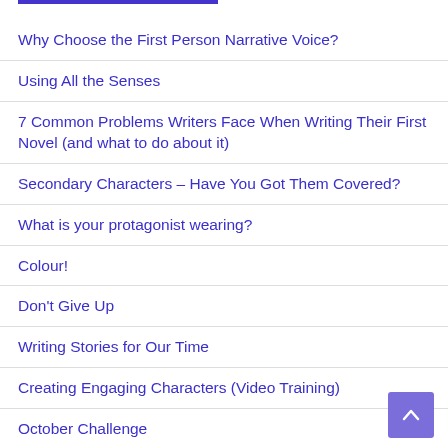Why Choose the First Person Narrative Voice?
Using All the Senses
7 Common Problems Writers Face When Writing Their First Novel (and what to do about it)
Secondary Characters – Have You Got Them Covered?
What is your protagonist wearing?
Colour!
Don't Give Up
Writing Stories for Our Time
Creating Engaging Characters (Video Training)
October Challenge
Writer's Block
What Can You Learn from People Watching?